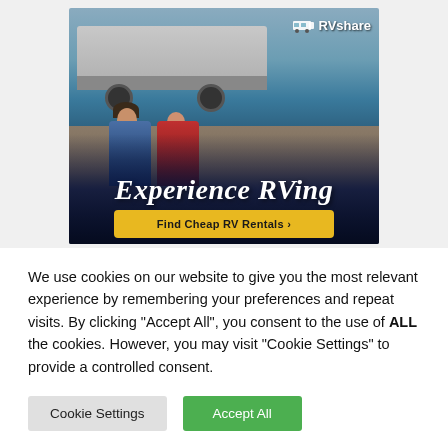[Figure (illustration): RVshare advertisement banner showing two people sitting in chairs outside an RV/travel trailer in a campsite. Text overlay reads 'Experience RVing' in italic script and a yellow button reads 'Find Cheap RV Rentals ›'. RVshare logo appears in top right corner.]
We use cookies on our website to give you the most relevant experience by remembering your preferences and repeat visits. By clicking "Accept All", you consent to the use of ALL the cookies. However, you may visit "Cookie Settings" to provide a controlled consent.
Cookie Settings
Accept All